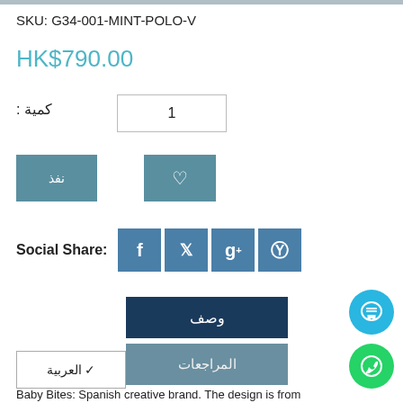SKU: G34-001-MINT-POLO-V
HK$790.00
كمية : 1
نفذ
♡
Social Share:
وصف
المراجعات
العربية
Baby Bites: Spanish creative brand. The design is from